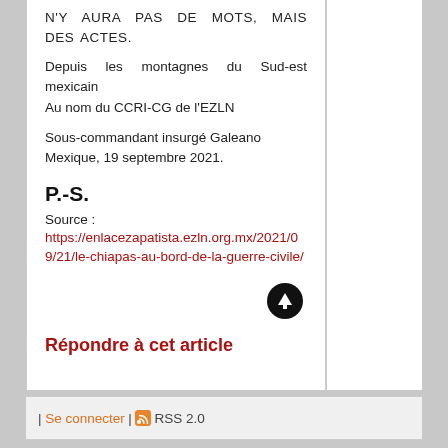N'Y AURA PAS DE MOTS, MAIS DES ACTES.
Depuis les montagnes du Sud-est mexicain
Au nom du CCRI-CG de l'EZLN
Sous-commandant insurgé Galeano
Mexique, 19 septembre 2021.
P.-S.
Source :
https://enlacezapatista.ezln.org.mx/2021/09/21/le-chiapas-au-bord-de-la-guerre-civile/
Répondre à cet article
| Se connecter | RSS 2.0